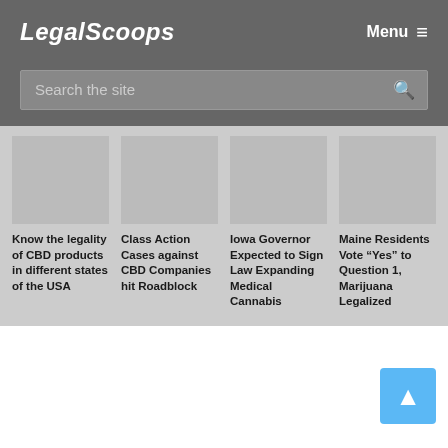LegalScoops
Search the site
Know the legality of CBD products in different states of the USA
Class Action Cases against CBD Companies hit Roadblock
Iowa Governor Expected to Sign Law Expanding Medical Cannabis
Maine Residents Vote "Yes" to Question 1, Marijuana Legalized